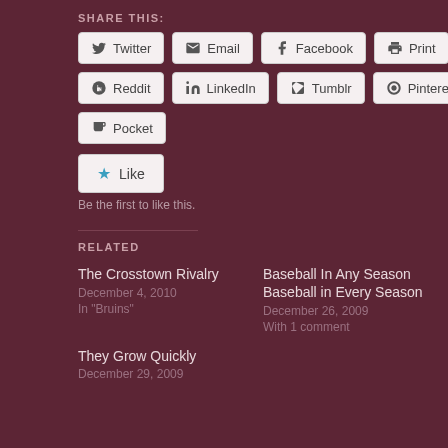SHARE THIS:
Twitter
Email
Facebook
Print
Reddit
LinkedIn
Tumblr
Pinterest
Pocket
Like
Be the first to like this.
RELATED
The Crosstown Rivalry
December 4, 2010
In "Bruins"
Baseball In Any Season Baseball in Every Season
December 26, 2009
With 1 comment
They Grow Quickly
December 29, 2009